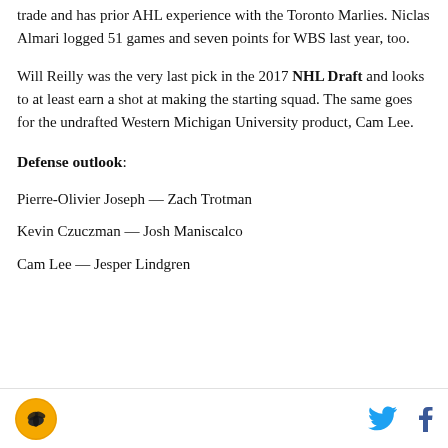trade and has prior AHL experience with the Toronto Marlies. Niclas Almari logged 51 games and seven points for WBS last year, too.
Will Reilly was the very last pick in the 2017 NHL Draft and looks to at least earn a shot at making the starting squad. The same goes for the undrafted Western Michigan University product, Cam Lee.
Defense outlook:
Pierre-Olivier Joseph — Zach Trotman
Kevin Czuczman — Josh Maniscalco
Cam Lee — Jesper Lindgren
Logo | Twitter | Facebook